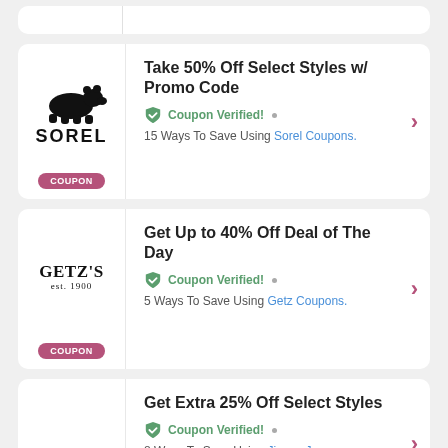[Figure (other): Partial top of a coupon card (stub), mostly cut off]
[Figure (logo): Sorel brand logo with polar bear icon above SOREL text]
Take 50% Off Select Styles w/ Promo Code
Coupon Verified! • 15 Ways To Save Using Sorel Coupons.
[Figure (logo): Getz's brand logo with est. 1900 text]
Get Up to 40% Off Deal of The Day
Coupon Verified! • 5 Ways To Save Using Getz Coupons.
Get Extra 25% Off Select Styles
Coupon Verified! • 8 Ways To Save Using Jimmy Jazz